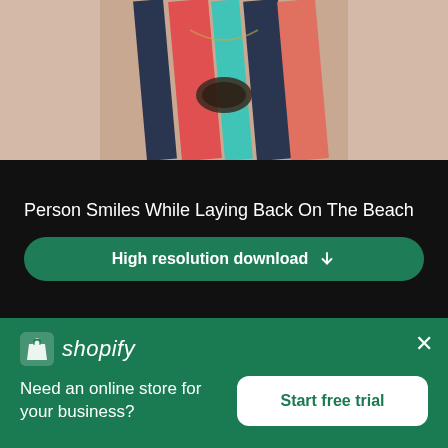[Figure (photo): Person in colorful striped swimsuit holding sunglasses, upper body visible, beach setting implied]
Person Smiles While Laying Back On The Beach
High resolution download
[Figure (photo): Second stock photo with pinkish-brown toned background, partially visible]
[Figure (logo): Shopify logo with shopping bag icon and italic shopify text]
Need an online store for your business?
Start free trial